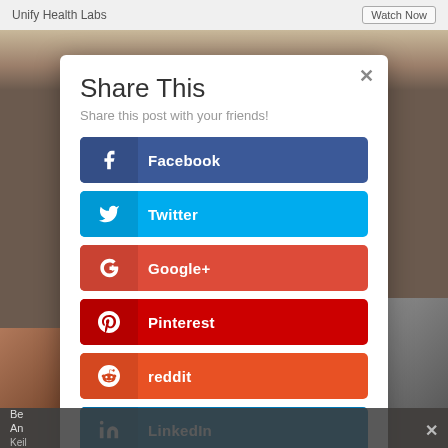Unify Health Labs    Watch Now
Share This
Share this post with your friends!
Facebook
Twitter
Google+
Pinterest
reddit
LinkedIn